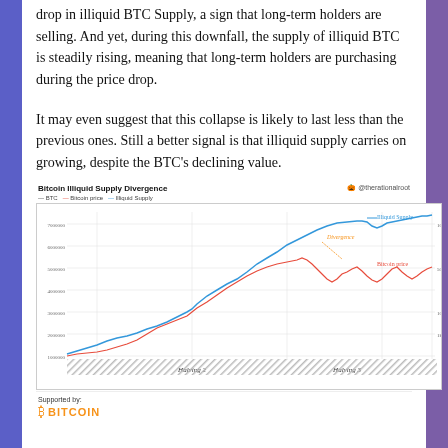drop in illiquid BTC Supply, a sign that long-term holders are selling. And yet, during this downfall, the supply of illiquid BTC is steadily rising, meaning that long-term holders are purchasing during the price drop.
It may even suggest that this collapse is likely to last less than the previous ones. Still a better signal is that illiquid supply carries on growing, despite the BTC's declining value.
[Figure (line-chart): Chart showing Bitcoin illiquid supply (blue line) rising and diverging from Bitcoin price (red/pink line) after Halving 2 and Halving 3 events. The divergence is annotated with 'Divergence' label. Illiquid Supply trend rises steeply while Bitcoin price dips. Annotation shows 'Illiquid Supply' and 'Bitcoin price' labels.]
Supported by: BITCOIN